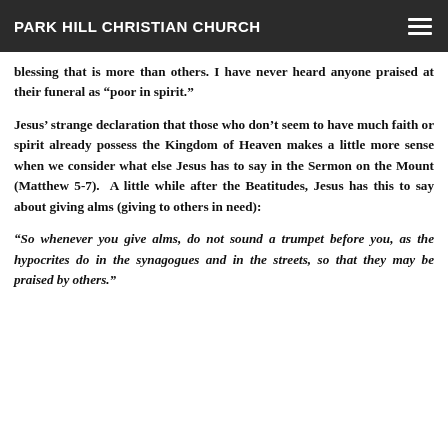PARK HILL CHRISTIAN CHURCH
blessing that is more than others. I have never heard anyone praised at their funeral as “poor in spirit.”
Jesus’ strange declaration that those who don’t seem to have much faith or spirit already possess the Kingdom of Heaven makes a little more sense when we consider what else Jesus has to say in the Sermon on the Mount (Matthew 5-7). A little while after the Beatitudes, Jesus has this to say about giving alms (giving to others in need):
“So whenever you give alms, do not sound a trumpet before you, as the hypocrites do in the synagogues and in the streets, so that they may be praised by others.”